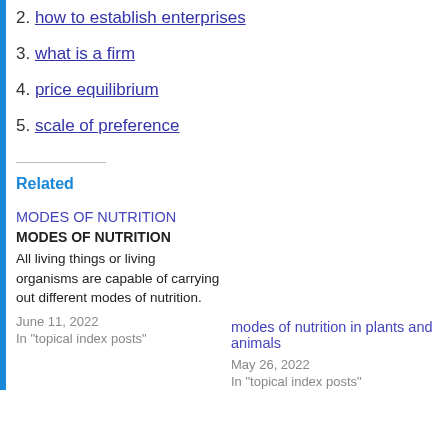2. how to establish enterprises
3. what is a firm
4. price equilibrium
5. scale of preference
Related
MODES OF NUTRITION
MODES OF NUTRITION
All living things or living organisms are capable of carrying out different modes of nutrition.
June 11, 2022
In "topical index posts"
modes of nutrition in plants and animals
May 26, 2022
In "topical index posts"